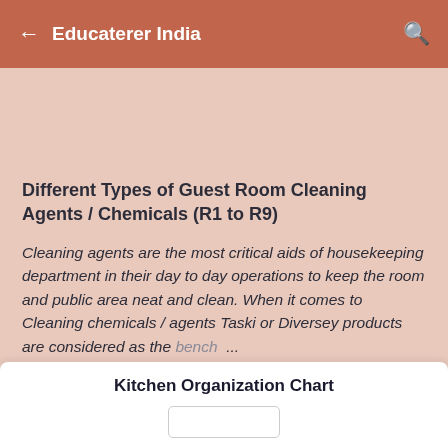← Educaterer India 🔍
Different Types of Guest Room Cleaning Agents / Chemicals (R1 to R9)
Cleaning agents are the most critical aids of housekeeping department in their day to day operations to keep the room and public area neat and clean. When it comes to Cleaning chemicals / agents Taski or Diversey products are considered as the bench ...
Kitchen Organization Chart
[Figure (organizational-chart): Partial organizational chart for Kitchen Organization, showing top-level box]